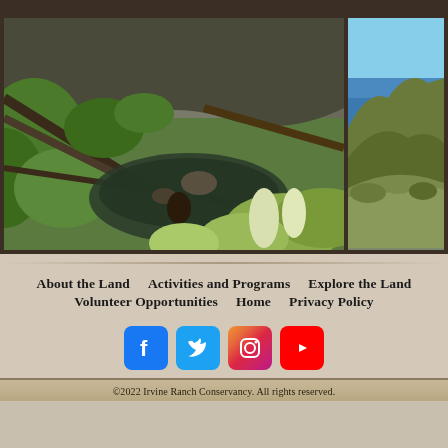[Figure (photo): Nature scene with a pond or stream surrounded by green vegetation, fallen logs, and lush foliage in a canyon or wilderness area]
[Figure (photo): Coastal landscape with hills, chaparral vegetation, and blue ocean water visible in the background under a clear sky]
About the Land
Activities and Programs
Explore the Land
Volunteer Opportunities
Home
Privacy Policy
[Figure (logo): Facebook social media icon - blue rounded square with white 'f' logo]
[Figure (logo): Twitter social media icon - blue rounded square with white bird logo]
[Figure (logo): Instagram social media icon - gradient rounded square with white camera outline logo]
[Figure (logo): YouTube social media icon - red rounded square with white play button logo]
©2022 Irvine Ranch Conservancy. All rights reserved.